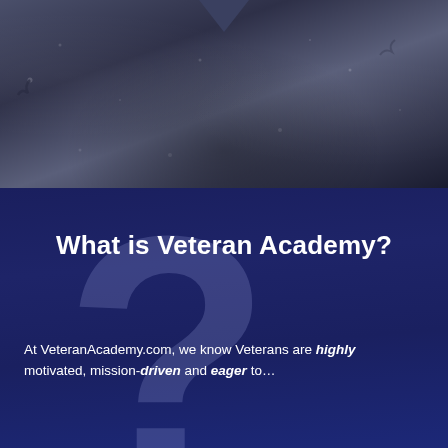[Figure (photo): Dark grayish-blue textured background photo, possibly night sky or dark surface, occupying the top portion of the page]
What is Veteran Academy?
At VeteranAcademy.com, we know Veterans are highly motivated, mission-driven and eager to…